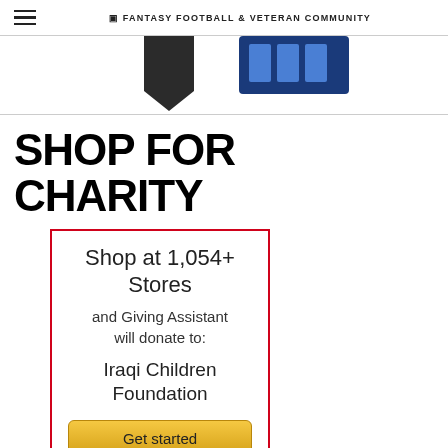FANTASY FOOTBALL & VETERAN COMMUNITY
[Figure (illustration): Partial logos visible: dark shield shape on left, blue rectangular logo on right, cropped at top]
SHOP FOR CHARITY
Shop at 1,054+ Stores and Giving Assistant will donate to: Iraqi Children Foundation
Get started
[Figure (other): Teal circular back-to-top button with upward chevron arrow]